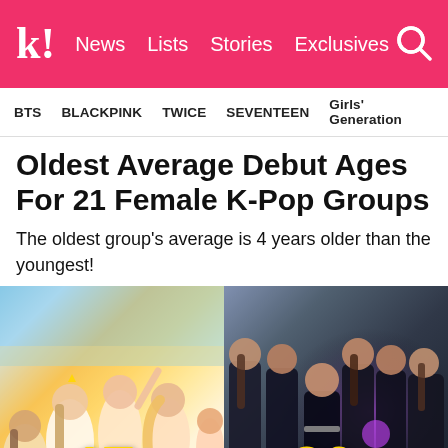k! News Lists Stories Exclusives
BTS  BLACKPINK  TWICE  SEVENTEEN  Girls' Generation
Oldest Average Debut Ages For 21 Female K-Pop Groups
The oldest group's average is 4 years older than the youngest!
[Figure (photo): Two side-by-side photos of K-Pop female groups. Left photo shows a colorful group of young women in casual/bright outfits with a number '17' overlay at bottom. Right photo shows a group of women in dark/black outfits with a number '20' overlay at bottom.]